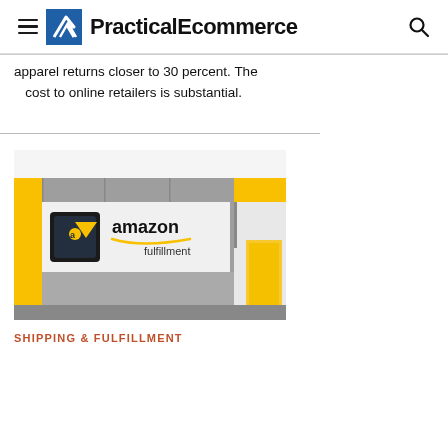PracticalEcommerce
apparel returns closer to 30 percent. The cost to online retailers is substantial.
[Figure (photo): Exterior of an Amazon Fulfillment center building with Amazon Fulfillment signage and logo, showing grey and yellow facade.]
SHIPPING & FULFILLMENT